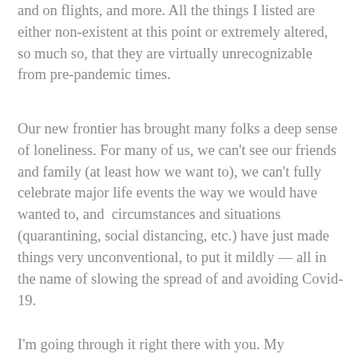and on flights, and more. All the things I listed are either non-existent at this point or extremely altered, so much so, that they are virtually unrecognizable from pre-pandemic times.
Our new frontier has brought many folks a deep sense of loneliness. For many of us, we can't see our friends and family (at least how we want to), we can't fully celebrate major life events the way we would have wanted to, and circumstances and situations (quarantining, social distancing, etc.) have just made things very unconventional, to put it mildly — all in the name of slowing the spread of and avoiding Covid-19.
I'm going through it right there with you. My